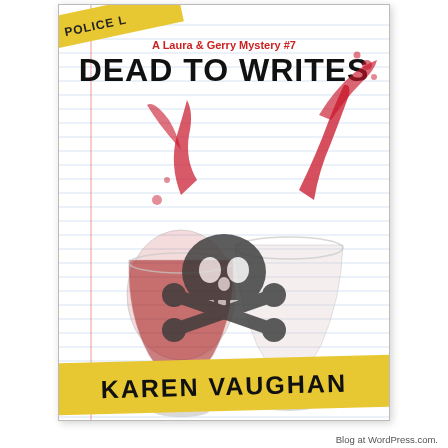[Figure (illustration): Book cover for 'Dead to Writes' by Karen Vaughan, A Laura & Gerry Mystery #7. Lined notebook paper background with a police tape banner in the top left corner, two wine glasses clinking with red wine splashing, a skull and crossbones symbol overlaid on the glasses, a yellow banner at the bottom with the author name Karen Vaughan in bold black text.]
Blog at WordPress.com.